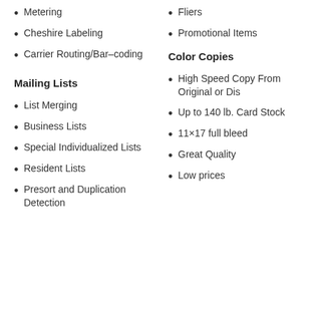Metering
Cheshire Labeling
Carrier Routing/Bar-coding
Fliers
Promotional Items
Mailing Lists
Color Copies
List Merging
Business Lists
Special Individualized Lists
Resident Lists
Presort and Duplication Detection
High Speed Copy From Original or Dis
Up to 140 lb. Card Stock
11×17 full bleed
Great Quality
Low prices